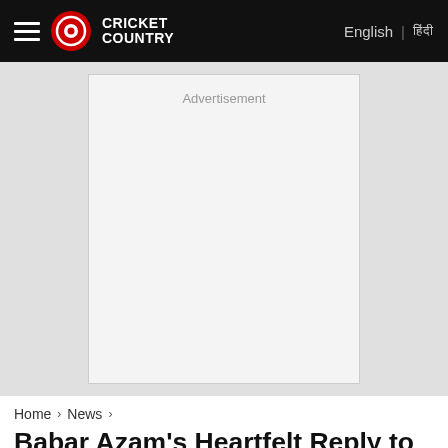Cricket Country | English | हिंदी
[Figure (other): Advertisement placeholder box with light gray background]
Home › News ›
Babar Azam's Heartfelt Reply to 8-Year-Old Fan After Pakistan's T20 World Cup Semifinal Loss Wins Hearts on Social